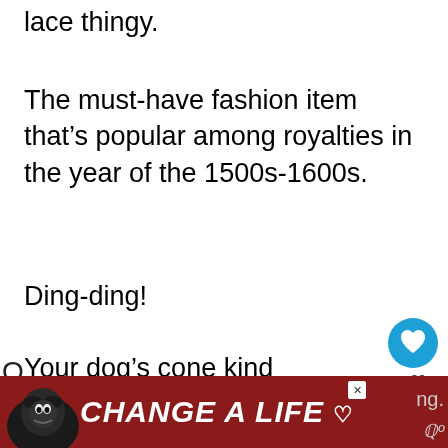lace thingy.
The must-have fashion item that’s popular among royalties in the year of the 1500s-1600s.
Ding-ding!
Your dog’s cone kind of looks like that. Frank L. Johnson, the inventor of the cone, decided to name it that wa…
[Figure (screenshot): Like/heart button (blue circle with heart icon), share count of 20, share button]
[Figure (screenshot): What's Next panel with thumbnail and text '9 Tips To Safely Lock...']
[Figure (screenshot): Bottom advertisement banner: dark red background with dog photo and 'CHANGE A LIFE' text with heart icon and X close button]